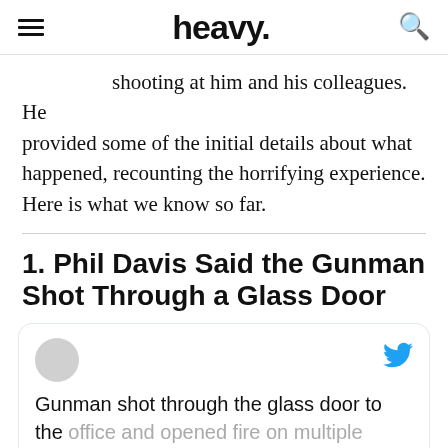heavy.
shooting at him and his colleagues. He provided some of the initial details about what happened, recounting the horrifying experience. Here is what we know so far.
1. Phil Davis Said the Gunman Shot Through a Glass Door
[Figure (screenshot): Embedded tweet card with a profile avatar placeholder, Twitter bird icon, and tweet text: 'Gunman shot through the glass door to the office and opened fire on multiple employees. Can't say much more and don't want to']